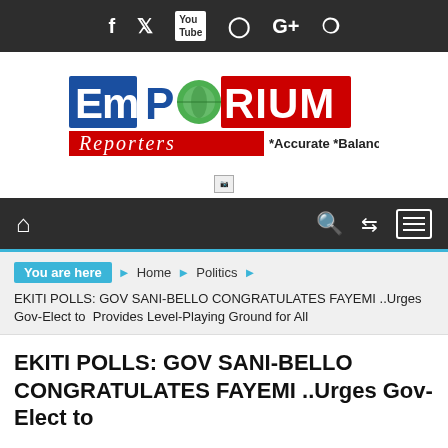Social media icons: Facebook, Twitter, YouTube, Instagram, Google+, Pinterest
[Figure (logo): Emporium Reporters logo with tagline *Accurate *Balance *Fresh]
[Figure (other): Broken image / ad placeholder]
Navigation bar with home icon, search, shuffle, and menu icons
You are here  Home  Politics
EKITI POLLS: GOV SANI-BELLO CONGRATULATES FAYEMI ..Urges Gov-Elect to  Provides Level-Playing Ground for All
EKITI POLLS: GOV SANI-BELLO CONGRATULATES FAYEMI ..Urges Gov-Elect to